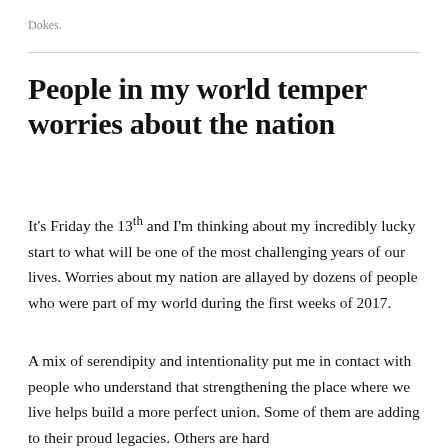Dokes.
People in my world temper worries about the nation
It's Friday the 13th and I'm thinking about my incredibly lucky start to what will be one of the most challenging years of our lives. Worries about my nation are allayed by dozens of people who were part of my world during the first weeks of 2017.
A mix of serendipity and intentionality put me in contact with people who understand that strengthening the place where we live helps build a more perfect union. Some of them are adding to their proud legacies. Others are hard